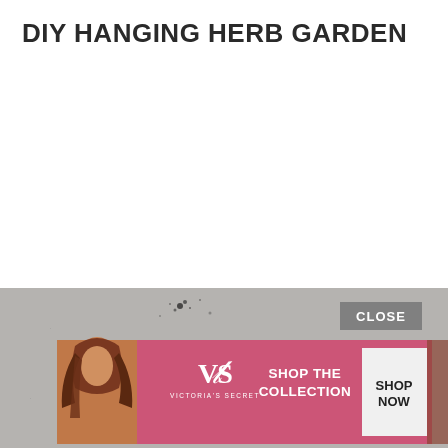DIY HANGING HERB GARDEN
[Figure (screenshot): Victoria's Secret advertisement banner with a model, VS logo, 'SHOP THE COLLECTION' text, and a 'SHOP NOW' button, overlaid on a gray textured background with a 'CLOSE' button]